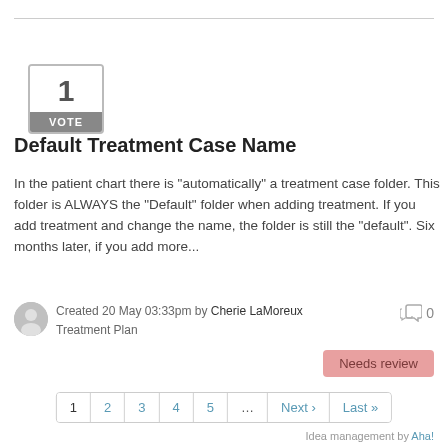[Figure (other): Vote box showing '1 VOTE' with grey border and dark grey label bar]
Default Treatment Case Name
In the patient chart there is "automatically" a treatment case folder. This folder is ALWAYS the "Default" folder when adding treatment. If you add treatment and change the name, the folder is still the "default". Six months later, if you add more...
Created 20 May 03:33pm by Cherie LaMoreux
Treatment Plan
0
Needs review
1
2
3
4
5
...
Next ›
Last »
Idea management by Aha!